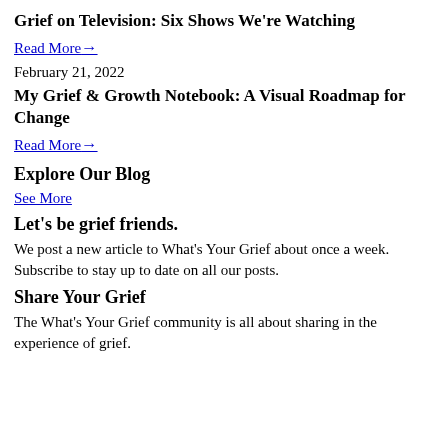Grief on Television: Six Shows We're Watching
Read More →
February 21, 2022
My Grief & Growth Notebook: A Visual Roadmap for Change
Read More →
Explore Our Blog
See More
Let's be grief friends.
We post a new article to What's Your Grief about once a week. Subscribe to stay up to date on all our posts.
Share Your Grief
The What's Your Grief community is all about sharing in the experience of grief.